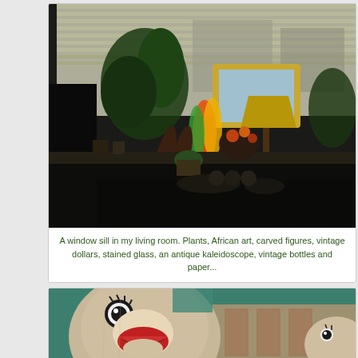[Figure (photo): A dark interior photo of a window sill in a living room filled with plants, African art, carved horse figures, a lamp with a lamp shade, colorful stained glass vase, flowers, and various decorative objects silhouetted against bright window blinds.]
A window sill in my living room. Plants, African art, carved figures, vintage dollars, stained glass, an antique kaleidoscope, vintage bottles and paper...
[Figure (photo): A close-up photo of sock monkey stuffed animals with teal/mint background fabric, showing the distinctive red mouth and button eyes of a classic sock monkey.]